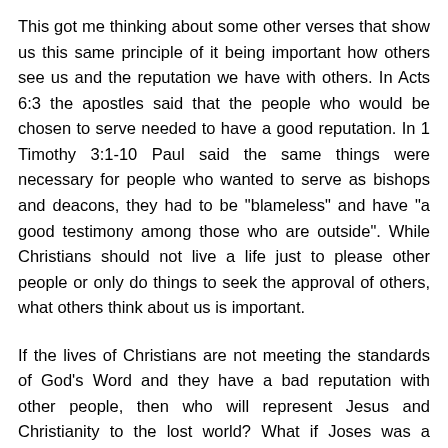This got me thinking about some other verses that show us this same principle of it being important how others see us and the reputation we have with others. In Acts 6:3 the apostles said that the people who would be chosen to serve needed to have a good reputation. In 1 Timothy 3:1-10 Paul said the same things were necessary for people who wanted to serve as bishops and deacons, they had to be "blameless" and have "a good testimony among those who are outside". While Christians should not live a life just to please other people or only do things to seek the approval of others, what others think about us is important.
If the lives of Christians are not meeting the standards of God's Word and they have a bad reputation with other people, then who will represent Jesus and Christianity to the lost world? What if Joses was a difficult person to get along with and the apostles decided to name him the son of discouragement? How about calling him, the son of sorrow, because he just made people miserable whenever he was around them? When we bring this into our lives, what terms do people use to describe us? How many of us would be